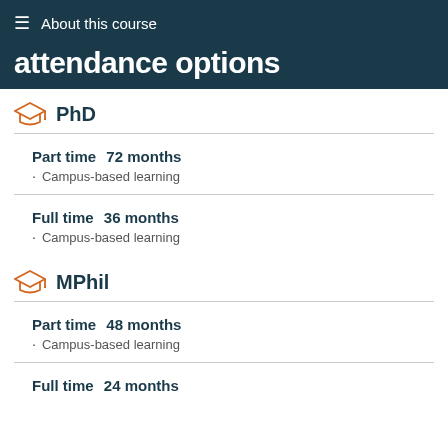About this course
Course duration and attendance options
PhD
Part time   72 months
Campus-based learning
Full time   36 months
Campus-based learning
MPhil
Part time   48 months
Campus-based learning
Full time   24 months